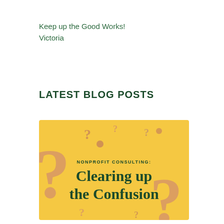Keep up the Good Works!
Victoria
LATEST BLOG POSTS
[Figure (illustration): Yellow banner image with large decorative question marks in muted salmon/tan color on a yellow background. Center text reads 'NONPROFIT CONSULTING:' in small caps above large bold serif text 'Clearing up the Confusion'.]